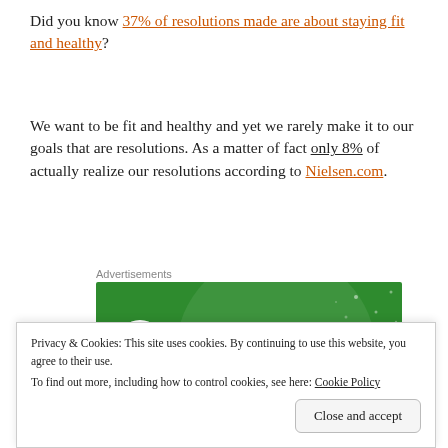Did you know 37% of resolutions made are about staying fit and healthy?
We want to be fit and healthy and yet we rarely make it to our goals that are resolutions. As a matter of fact only 8% of actually realize our resolutions according to Nielsen.com.
Advertisements
[Figure (other): Jetpack advertisement banner with green background, large decorative circles, Jetpack logo with lightning bolt icon and brand name in white text.]
Privacy & Cookies: This site uses cookies. By continuing to use this website, you agree to their use. To find out more, including how to control cookies, see here: Cookie Policy